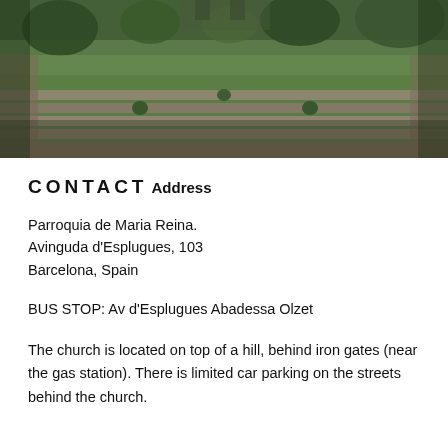[Figure (photo): Outdoor photo of terraced stone steps leading upward through a landscaped garden with green grass, trimmed hedges, and trees in the background under an overcast sky.]
CONTACT
Address
Parroquia de Maria Reina.
Avinguda d'Esplugues, 103
Barcelona, Spain
BUS STOP: Av d'Esplugues Abadessa Olzet
The church is located on top of a hill, behind iron gates (near the gas station). There is limited car parking on the streets behind the church.